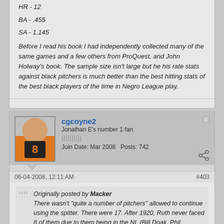HR - 12
BA - .455
SA - 1.145
Before I read his book I had independently collected many of the same games and a few others from ProQuest, and John Holway's book. The sample size isn't large but he his rate stats against black pitchers is much better than the best hitting stats of the best black players of the time in Negro League play.
cgcoyne2
Jonathan E's number 1 fan
Join Date: Mar 2008   Posts: 742
06-04-2008, 12:11 AM
#403
Originally posted by Macker
There wasn't "quite a number of pitchers" allowed to continue using the spitter. There were 17. After 1920, Ruth never faced 8 of them due to them being in the NL (Bill Doak, Phil Douglas, Dana Fillingim, Ray Fisher, Marv Goodwin, Burleigh